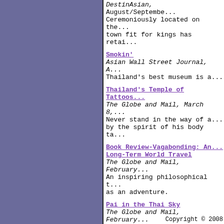DestinAsian, August/September. Ceremoniously located on the town fit for kings has retai...
Smokin' — Asian Wall Street Journal, A... Thailand's best museum is a...
Thailand's Temple of Tattoos — The Globe and Mail, March 8. Never stand in the way of a... by the spirit of his body ta...
Book Review-Vagabonding: An... Long-Term World Travel — The Globe and Mail, February. An inspiring philosophical t... as an adventure.
Pai in the Thai Sky — The Globe and Mail, February. A mountainous northern Thai... Impressionist painting.
The Gala at the Scala — Asian Wall Street Journal, F... More smiles than substance a...
Copyright © 2008